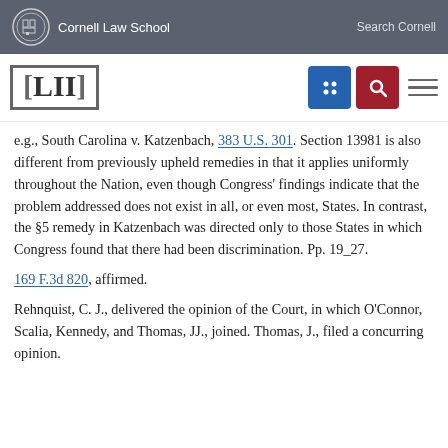Cornell Law School | Search Cornell
e.g., South Carolina v. Katzenbach, 383 U.S. 301. Section 13981 is also different from previously upheld remedies in that it applies uniformly throughout the Nation, even though Congress' findings indicate that the problem addressed does not exist in all, or even most, States. In contrast, the §5 remedy in Katzenbach was directed only to those States in which Congress found that there had been discrimination. Pp. 19_27.
169 F.3d 820, affirmed.
Rehnquist, C. J., delivered the opinion of the Court, in which O'Connor, Scalia, Kennedy, and Thomas, JJ., joined. Thomas, J., filed a concurring opinion.